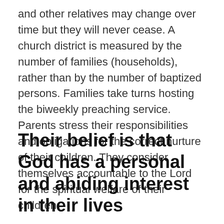and other relatives may change over time but they will never cease. A church district is measured by the number of families (households), rather than by the number of baptized persons. Families take turns hosting the biweekly preaching service. Parents stress their responsibilities and obligations for the correct nurture of their children. They consider themselves accountable to the Lord for the spiritual welfare of their children.
Their belief is that God has a personal and abiding interest in their lives